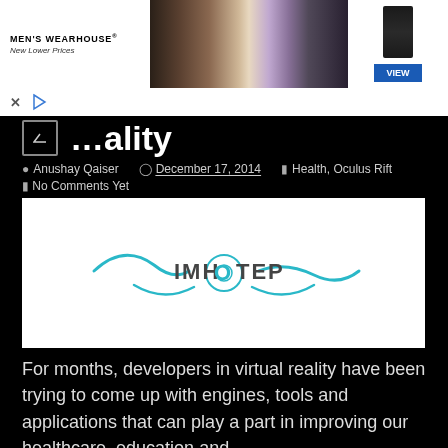[Figure (photo): Men's Wearhouse advertisement banner showing a couple in formal wedding attire and a man in a dark suit, with a 'VIEW' button]
…ality
Anushay Qaiser  December 17, 2014  Health, Oculus Rift
No Comments Yet
[Figure (logo): IMHOTEP logo with teal wave/eye design and text]
For months, developers in virtual reality have been trying to come up with engines, tools and applications that can play a part in improving our healthcare, education and